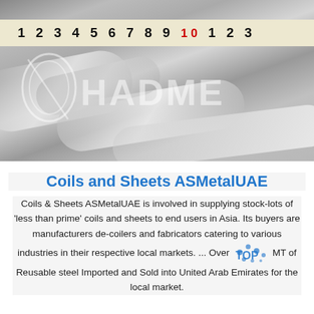[Figure (photo): Close-up photo of stainless steel coils/sheets with a ruler/measuring tape visible at top. Photo has a HADME watermark overlay.]
Coils and Sheets ASMetalUAE
Coils & Sheets ASMetalUAE is involved in supplying stock-lots of 'less than prime' coils and sheets to end users in Asia. Its buyers are manufacturers de-coilers and fabricators catering to various industries in their respective local markets. ... Over 000 MT of Reusable steel Imported and Sold into United Arab Emirates for the local market.